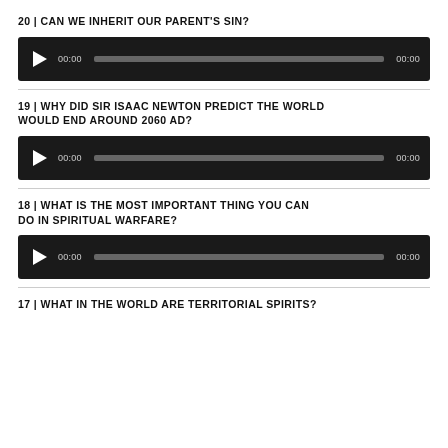20 | CAN WE INHERIT OUR PARENT'S SIN?
[Figure (other): Audio player with play button, progress bar, and time display showing 00:00]
19 | WHY DID SIR ISAAC NEWTON PREDICT THE WORLD WOULD END AROUND 2060 AD?
[Figure (other): Audio player with play button, progress bar, and time display showing 00:00]
18 | WHAT IS THE MOST IMPORTANT THING YOU CAN DO IN SPIRITUAL WARFARE?
[Figure (other): Audio player with play button, progress bar, and time display showing 00:00]
17 | WHAT IN THE WORLD ARE TERRITORIAL SPIRITS?